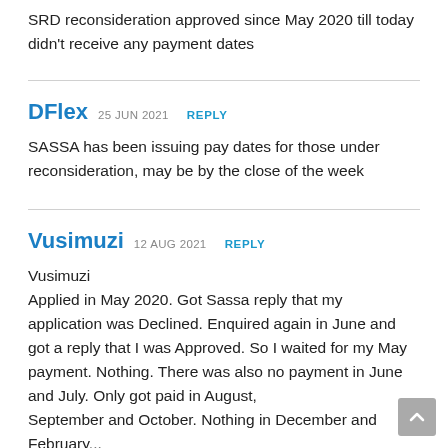SRD reconsideration approved since May 2020 till today didn't receive any payment dates
DFlex  25 JUN 2021  REPLY
SASSA has been issuing pay dates for those under reconsideration, may be by the close of the week
Vusimuzi  12 AUG 2021  REPLY
Vusimuzi
Applied in May 2020. Got Sassa reply that my application was Declined. Enquired again in June and got a reply that I was Approved. So I waited for my May payment. Nothing. There was also no payment in June and July. Only got paid in August, September and October. Nothing in December and February...